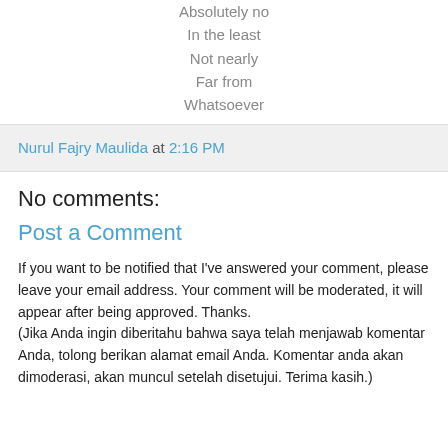Absolutely no
In the least
Not nearly
Far from
Whatsoever
Nurul Fajry Maulida at 2:16 PM
No comments:
Post a Comment
If you want to be notified that I've answered your comment, please leave your email address. Your comment will be moderated, it will appear after being approved. Thanks.
(Jika Anda ingin diberitahu bahwa saya telah menjawab komentar Anda, tolong berikan alamat email Anda. Komentar anda akan dimoderasi, akan muncul setelah disetujui. Terima kasih.)